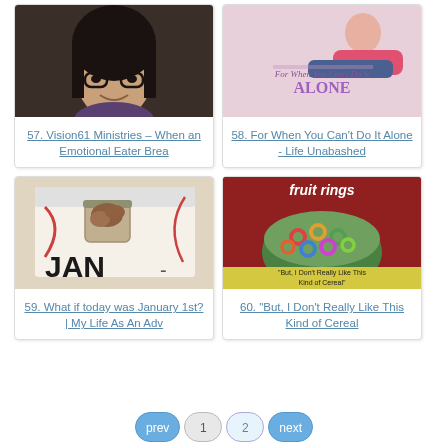[Figure (photo): Portrait photo of a young woman with dark hair and glasses, smiling]
57. Vision61 Ministries – When an Emotional Eater Brea
[Figure (photo): Promotional image text: For When You Can't Do It ALONE with woman reading]
58. For When You Can't Do It Alone - Life Unabashed
[Figure (photo): Calendar showing JAN with cookies in a jar and festive ribbons]
59. What if today was January 1st? | My Life As An Adv
[Figure (photo): Bowl of colorful fruit rings cereal with text: But, I Don't Really Like This Kind of Cereal]
60. "But, I Don't Really Like This Kind of Cereal
prev  1  2  next